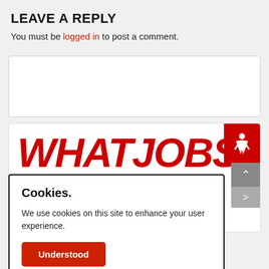LEAVE A REPLY
You must be logged in to post a comment.
[Figure (screenshot): Empty comment text area box with rounded border]
[Figure (screenshot): WhatJobs website widget card with large red italic logo text]
[Figure (infographic): Cookie consent modal: 'Cookies. We use cookies on this site to enhance your user experience.' with red Understood button]
[Figure (infographic): Social sharing bar with Twitter, Facebook, WhatsApp, LinkedIn, Email, and More icons]